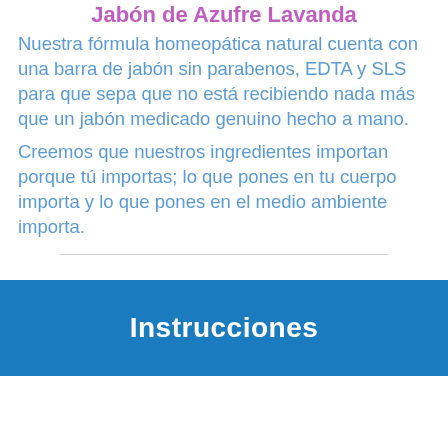Jabón de Azufre Lavanda
Nuestra fórmula homeopática natural cuenta con una barra de jabón sin parabenos, EDTA y SLS para que sepa que no está recibiendo nada más que un jabón medicado genuino hecho a mano.
Creemos que nuestros ingredientes importan porque tú importas; lo que pones en tu cuerpo importa y lo que pones en el medio ambiente importa.
Instrucciones